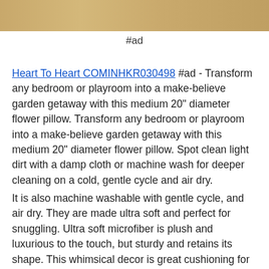[Figure (photo): Partial image of a wooden surface at the top of the page]
#ad
Heart To Heart COMINHKR030498 #ad - Transform any bedroom or playroom into a make-believe garden getaway with this medium 20" diameter flower pillow. Transform any bedroom or playroom into a make-believe garden getaway with this medium 20" diameter flower pillow. Spot clean light dirt with a damp cloth or machine wash for deeper cleaning on a cold, gentle cycle and air dry.
It is also machine washable with gentle cycle, and air dry. They are made ultra soft and perfect for snuggling. Ultra soft microfiber is plush and luxurious to the touch, but sturdy and retains its shape. This whimsical decor is great cushioning for beds, sofas